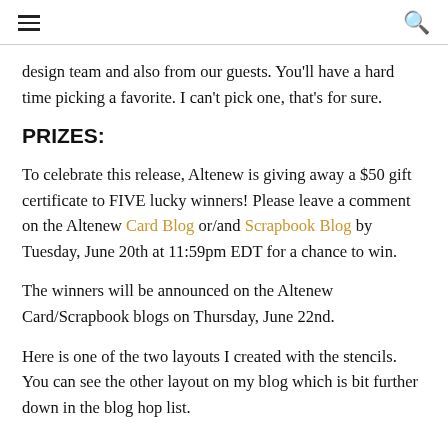≡  🔍
design team and also from our guests. You'll have a hard time picking a favorite. I can't pick one, that's for sure.
PRIZES:
To celebrate this release, Altenew is giving away a $50 gift certificate to FIVE lucky winners! Please leave a comment on the Altenew Card Blog or/and Scrapbook Blog by Tuesday, June 20th at 11:59pm EDT for a chance to win.
The winners will be announced on the Altenew Card/Scrapbook blogs on Thursday, June 22nd.
Here is one of the two layouts I created with the stencils. You can see the other layout on my blog which is bit further down in the blog hop list.